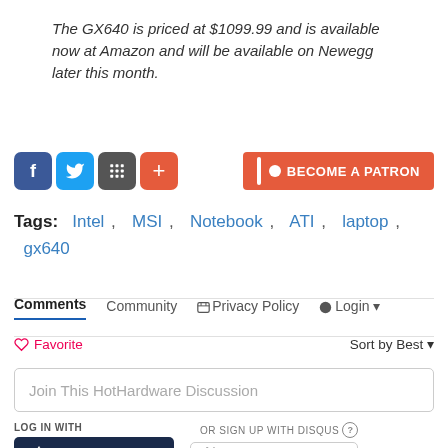The GX640 is priced at $1099.99 and is available now at Amazon and will be available on Newegg later this month.
[Figure (other): Social media share buttons (Facebook, Twitter, Feed, Plus) and a Become a Patron button]
Tags: Intel , MSI , Notebook , ATI , laptop , gx640
Comments  Community  Privacy Policy  Login
Favorite  Sort by Best
Join This HotHardware Discussion
LOG IN WITH
OR SIGN UP WITH DISQUS ?
[Figure (logo): HotHardware logo on dark blue background]
Name